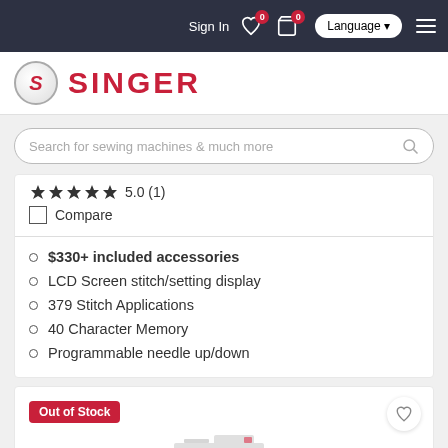Sign In | Language | Menu
[Figure (logo): SINGER brand logo with red S circle and red SINGER text]
Search for sewing machines & much more
5.0 (1)
Compare
$330+ included accessories
LCD Screen stitch/setting display
379 Stitch Applications
40 Character Memory
Programmable needle up/down
Out of Stock